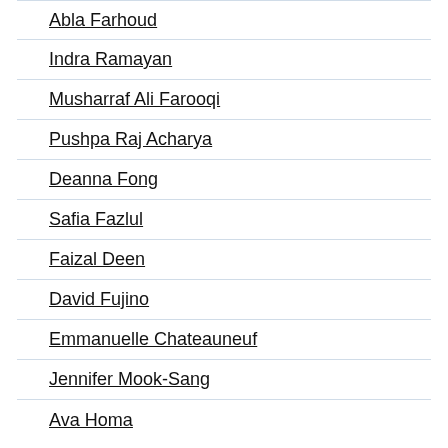Abla Farhoud
Indra Ramayan
Musharraf Ali Farooqi
Pushpa Raj Acharya
Deanna Fong
Safia Fazlul
Faizal Deen
David Fujino
Emmanuelle Chateauneuf
Jennifer Mook-Sang
Ava Homa